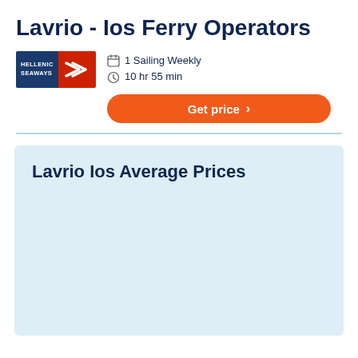Lavrio - Ios Ferry Operators
[Figure (logo): Hellenic Seaways logo — navy blue left panel with white text 'HELLENIC SEAWAYS', red right panel with white speed-lines arrow graphic]
1 Sailing Weekly
10 hr 55 min
Get price
Lavrio Ios Average Prices